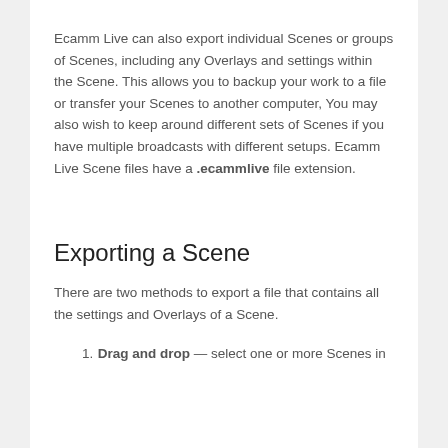Ecamm Live can also export individual Scenes or groups of Scenes, including any Overlays and settings within the Scene. This allows you to backup your work to a file or transfer your Scenes to another computer, You may also wish to keep around different sets of Scenes if you have multiple broadcasts with different setups. Ecamm Live Scene files have a .ecammlive file extension.
Exporting a Scene
There are two methods to export a file that contains all the settings and Overlays of a Scene.
Drag and drop — select one or more Scenes in